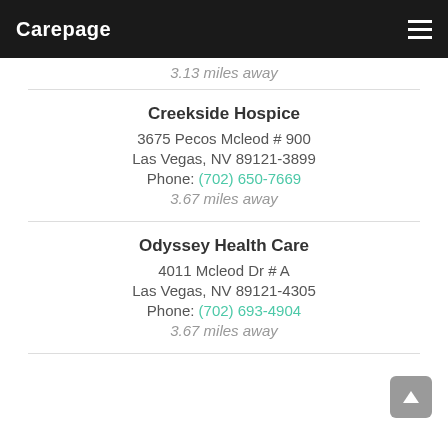Carepage
3.13 miles away
Creekside Hospice
3675 Pecos Mcleod # 900
Las Vegas, NV 89121-3899
Phone: (702) 650-7669
3.67 miles away
Odyssey Health Care
4011 Mcleod Dr # A
Las Vegas, NV 89121-4305
Phone: (702) 693-4904
3.67 miles away